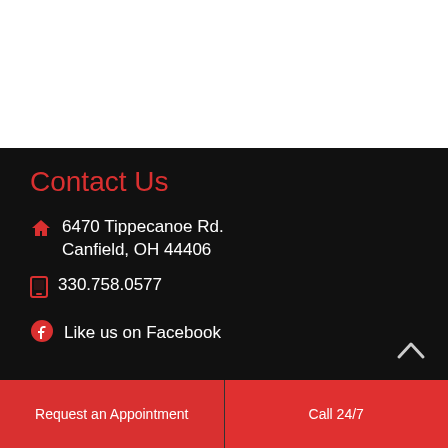Contact Us
6470 Tippecanoe Rd.
Canfield, OH 44406
330.758.0577
Like us on Facebook
Request an Appointment
Call 24/7